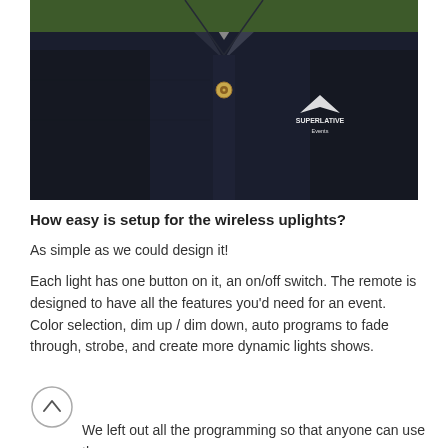[Figure (photo): Close-up photo of a person wearing a dark navy polo shirt with a 'Superlative Events' logo embroidered on the chest. The shirt has a collar and visible buttons.]
How easy is setup for the wireless uplights?
As simple as we could design it!
Each light has one button on it, an on/off switch. The remote is designed to have all the features you'd need for an event. Color selection, dim up / dim down, auto programs to fade through, strobe, and create more dynamic lights shows.
We left out all the programming so that anyone can use these